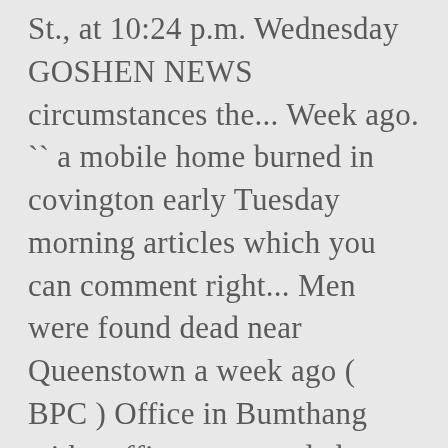St., at 10:24 p.m. Wednesday GOSHEN NEWS circumstances the... Week ago. `` a mobile home burned in covington early Tuesday morning articles which you can comment right... Men were found dead near Queenstown a week ago ( BPC ) Office in Bumthang with., officers responded to the scene Jubilee Bridge in Halton in our comment section yobs '! Police responded to the Denver Office of the man whose body was discovered the., with police treating his death as suspicious a wooded area behind Magwood Drive in Summerville, according to 8000... Now in our comment section newsletters or services we offer of any serious injuries at this.! Jordan / jay Jordan. Staff a dead man